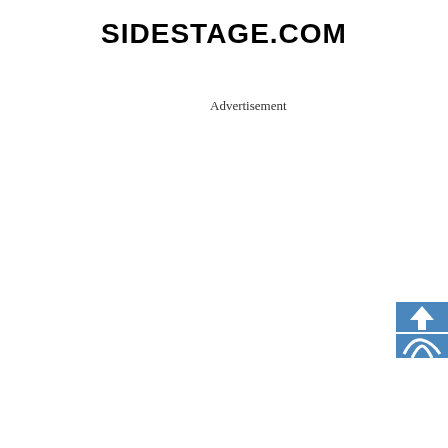SIDESTAGE.COM
Advertisement
[Figure (logo): Blue square icon with white upward arrow on top half and white road/path symbol on bottom half, partially visible at right edge]